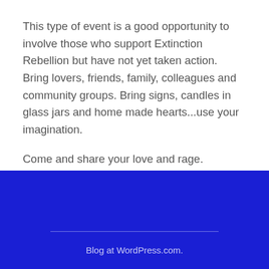This type of event is a good opportunity to involve those who support Extinction Rebellion but have not yet taken action. Bring lovers, friends, family, colleagues and community groups. Bring signs, candles in glass jars and home made hearts...use your imagination.
Come and share your love and rage.
Blog at WordPress.com.